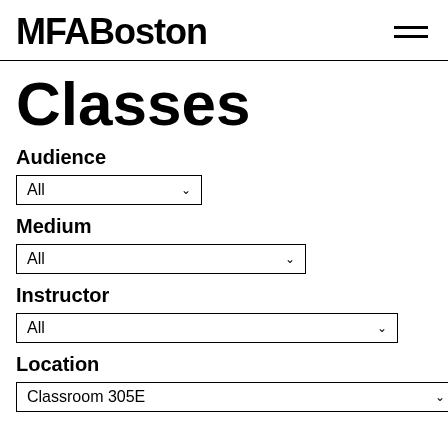MFABoston
Classes
Audience
All (dropdown)
Medium
All (dropdown)
Instructor
All (dropdown)
Location
Classroom 305E (dropdown)